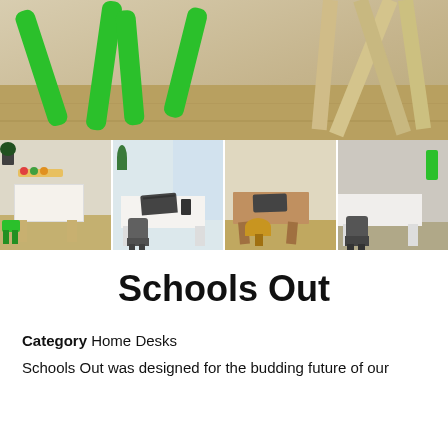[Figure (photo): Close-up photo of green plastic table legs and a wooden star-shaped decorative object on a light wood floor]
[Figure (photo): Thumbnail 1: Green chair next to a small white children's table with colorful food/activity items on top, light wood floor]
[Figure (photo): Thumbnail 2: Dark gray chair next to a white desk with a laptop and phone, light background with plant]
[Figure (photo): Thumbnail 3: Yellow/mustard chair at a wood-tone desk with laptop on light wood floor]
[Figure (photo): Thumbnail 4: Dark gray chair next to a white table, light background]
Schools Out
Category Home Desks
Schools Out was designed for the budding future of our